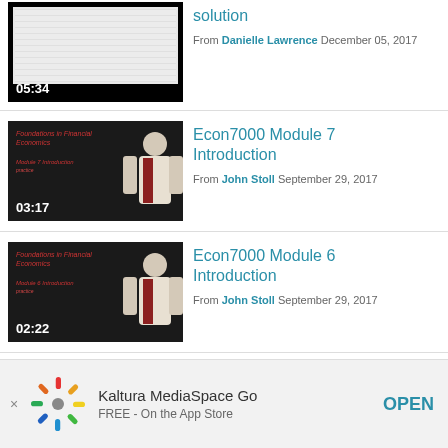[Figure (screenshot): Video thumbnail showing spreadsheet/table content with timestamp 05:34]
solution
From Danielle Lawrence December 05, 2017
[Figure (screenshot): Video thumbnail showing a man in a tie with text 'Foundations in Financial Economics Module 7 Introduction' and timestamp 03:17]
Econ7000 Module 7 Introduction
From John Stoll September 29, 2017
[Figure (screenshot): Video thumbnail showing a man in a tie with text 'Foundations in Financial Economics Module 6 Introduction' and timestamp 02:22]
Econ7000 Module 6 Introduction
From John Stoll September 29, 2017
Kaltura MediaSpace Go FREE - On the App Store OPEN